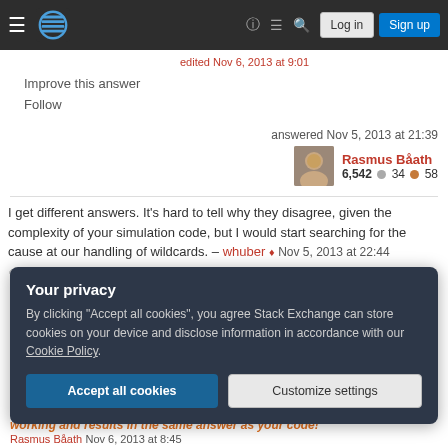Stack Exchange navigation bar with hamburger menu, logo, help, chat, search icons, Log in and Sign up buttons
edited Nov 6, 2013 at 9:01
Improve this answer
Follow
answered Nov 5, 2013 at 21:39
Rasmus Båath 6,542 34 58
I get different answers. It's hard to tell why they disagree, given the complexity of your simulation code, but I would start searching for the cause at our handling of wildcards. – whuber ♦ Nov 5, 2013 at 22:44
Your privacy
By clicking "Accept all cookies", you agree Stack Exchange can store cookies on your device and disclose information in accordance with our Cookie Policy.
Accept all cookies
Customize settings
working and results in the same answer as your code! Rasmus Båath Nov 6, 2013 at 8:45